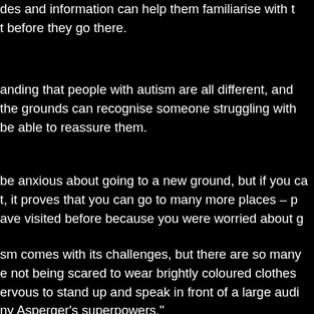des and information can help them familiarise with t before they go there.
anding that people with autism are all different, and the grounds can recognise someone struggling with be able to reassure them.
be anxious about going to a new ground, but if you ca t, it proves that you can go to many more places – p ave visited before because you were worried about g
sm comes with its challenges, but there are so many e not being scared to wear brightly coloured clothes ervous to stand up and speak in front of a large audi ny Asperger's superpowers."